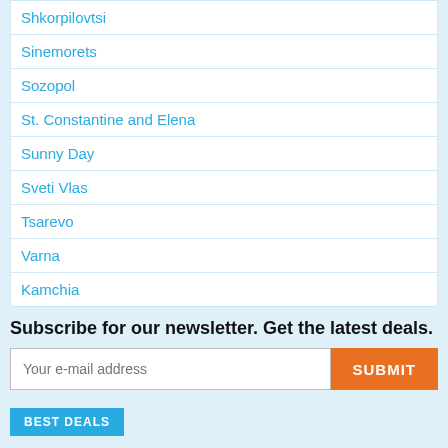Shkorpilovtsi
Sinemorets
Sozopol
St. Constantine and Elena
Sunny Day
Sveti Vlas
Tsarevo
Varna
Kamchia
Subscribe for our newsletter. Get the latest deals.
Your e-mail address
SUBMIT
BEST DEALS